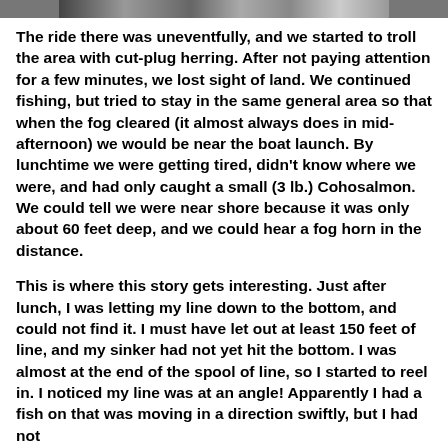[Figure (photo): Partial photo strip at the top of the page, showing a cropped image.]
The ride there was uneventfully, and we started to troll the area with cut-plug herring. After not paying attention for a few minutes, we lost sight of land. We continued fishing, but tried to stay in the same general area so that when the fog cleared (it almost always does in mid-afternoon) we would be near the boat launch. By lunchtime we were getting tired, didn't know where we were, and had only caught a small (3 lb.) Cohosalmon. We could tell we were near shore because it was only about 60 feet deep, and we could hear a fog horn in the distance.
This is where this story gets interesting. Just after lunch, I was letting my line down to the bottom, and could not find it. I must have let out at least 150 feet of line, and my sinker had not yet hit the bottom. I was almost at the end of the spool of line, so I started to reel in. I noticed my line was at an angle! Apparently I had a fish on that was moving in a direction swiftly, but I had not...